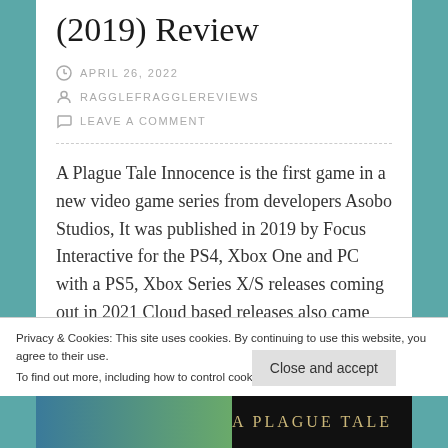(2019) Review
APRIL 26, 2022
RAGGLEFRAGGLEREVIEWS
LEAVE A COMMENT
A Plague Tale Innocence is the first game in a new video game series from developers Asobo Studios, It was published in 2019 by Focus Interactive for the PS4, Xbox One and PC with a PS5, Xbox Series X/S releases coming out in 2021 Cloud based releases also came out for the Nintendo Switch and Amazon
Privacy & Cookies: This site uses cookies. By continuing to use this website, you agree to their use.
To find out more, including how to control cookies, see here: Cookie Policy
Close and accept
[Figure (photo): Bottom strip showing dark background with golden text 'A PLAGUE TALE' and colored section on left]